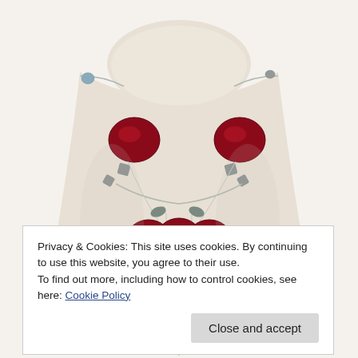[Figure (photo): A jewelry display bust (mannequin neck form in beige/cream fabric) wearing a red crystal beaded necklace with silver chain. The necklace features large faceted dark red/crimson gemstone beads arranged in a cascading bib style with smaller clear crystal and gray square beads. The background is white.]
Privacy & Cookies: This site uses cookies. By continuing to use this website, you agree to their use.
To find out more, including how to control cookies, see here: Cookie Policy
Close and accept